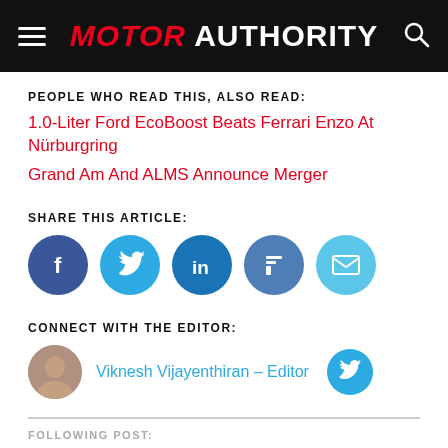MOTOR AUTHORITY
PEOPLE WHO READ THIS, ALSO READ:
1.0-Liter Ford EcoBoost Beats Ferrari Enzo At Nürburgring
Grand Am And ALMS Announce Merger
SHARE THIS ARTICLE:
[Figure (infographic): Social share buttons: Facebook, Twitter, LinkedIn, Flipboard, Email]
CONNECT WITH THE EDITOR:
[Figure (photo): Editor photo and Twitter link for Viknesh Vijayenthiran - Editor]
Viknesh Vijayenthiran - Editor
FOLLOWING POST: